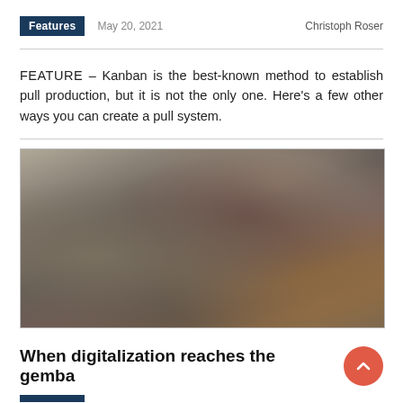Features  May 20, 2021  Christoph Roser
FEATURE – Kanban is the best-known method to establish pull production, but it is not the only one. Here's a few other ways you can create a pull system.
[Figure (photo): A blurred photograph, likely showing a manufacturing or industrial environment (gemba), with muted browns, grays, and olive tones.]
When digitalization reaches the gemba